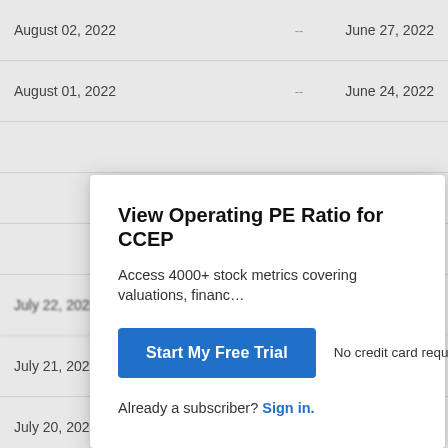| Date |  | Ex-Dividend Date |
| --- | --- | --- |
| August 02, 2022 | -- | June 27, 2022 |
| August 01, 2022 | -- | June 24, 2022 |
| July 22, 2022 | -- | June 15, 2022 |
| July 21, 2022 | -- | June 14, 2022 |
| July 20, 2022 | -- | June 13, 2022 |
| July 19, 2022 | -- | June 10, 2022 |
View Operating PE Ratio for CCEP
Access 4000+ stock metrics covering valuations, financ…
Start My Free Trial
No credit card required.
Already a subscriber? Sign in.